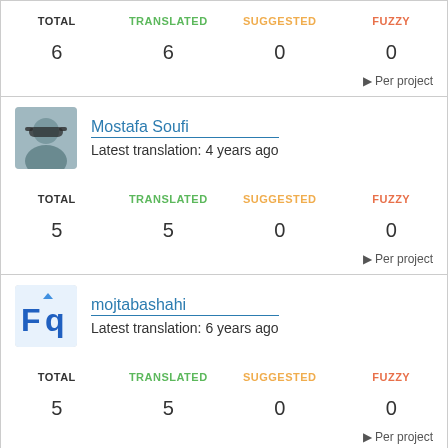| TOTAL | TRANSLATED | SUGGESTED | FUZZY |
| --- | --- | --- | --- |
| 6 | 6 | 0 | 0 |
▶ Per project
[Figure (photo): Avatar photo of Mostafa Soufi]
Mostafa Soufi
Latest translation: 4 years ago
| TOTAL | TRANSLATED | SUGGESTED | FUZZY |
| --- | --- | --- | --- |
| 5 | 5 | 0 | 0 |
▶ Per project
[Figure (logo): Avatar logo for mojtabashahi]
mojtabashahi
Latest translation: 6 years ago
| TOTAL | TRANSLATED | SUGGESTED | FUZZY |
| --- | --- | --- | --- |
| 5 | 5 | 0 | 0 |
▶ Per project
[Figure (logo): Avatar logo for leilannaeimi]
leilannaeimi
Latest translation: 3 years ago